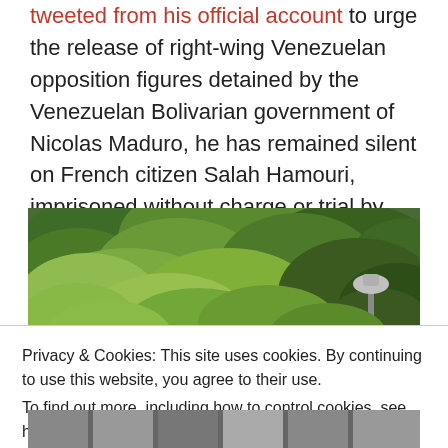tweeted from his official account to urge the release of right-wing Venezuelan opposition figures detained by the Venezuelan Bolivarian government of Nicolas Maduro, he has remained silent on French citizen Salah Hamouri, imprisoned without charge or trial by the Israeli occupation.
[Figure (photo): Outdoor photograph showing lush green tree foliage filling most of the frame, with a decorative street lamp visible in the lower right area.]
Privacy & Cookies: This site uses cookies. By continuing to use this website, you agree to their use.
To find out more, including how to control cookies, see here: Cookie Policy
Close and accept